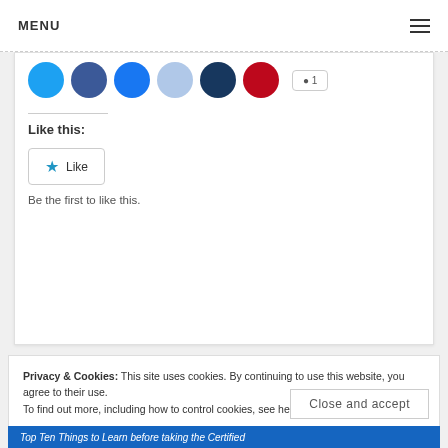MENU
[Figure (screenshot): Row of social media sharing icon circles (Twitter/cyan, Facebook/blue, Facebook/dark blue, light blue, dark navy, red/Pinterest) and a share button]
Like this:
[Figure (screenshot): Like button with star icon]
Be the first to like this.
Privacy & Cookies: This site uses cookies. By continuing to use this website, you agree to their use.
To find out more, including how to control cookies, see here: Cookie Policy
Close and accept
Top Ten Things to Learn before taking the Certified